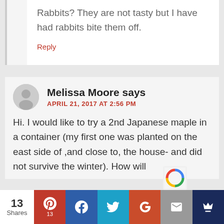Rabbits? They are not tasty but I have had rabbits bite them off.
Reply
Melissa Moore says
APRIL 21, 2017 AT 2:56 PM
Hi. I would like to try a 2nd Japanese maple in a container (my first one was planted on the east side of ,and close to, the house- and did not survive the winter). How will
13 Shares | Pinterest 13 | Facebook | Twitter | G+ | Email | Crown